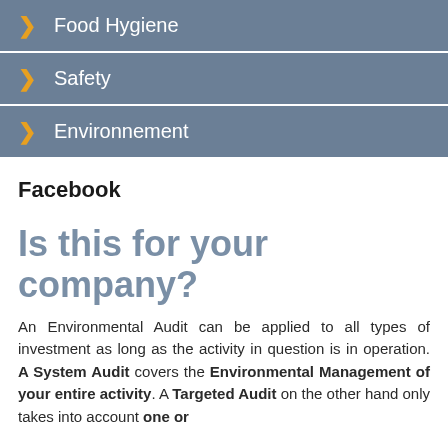Food Hygiene
Safety
Environnement
Facebook
Is this for your company?
An Environmental Audit can be applied to all types of investment as long as the activity in question is in operation. A System Audit covers the Environmental Management of your entire activity. A Targeted Audit on the other hand only takes into account one or